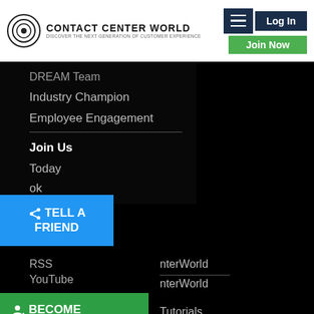Contact Center World — Discover The Next Generation Of Customer Experience | Log In | Join Now
DREAM Team
Industry Champion
Employee Engagement
Join Us
Today
ok
[Figure (other): Blue 'TELL A FRIEND' button with share icon]
RSS
YouTube
nterWorld
nterWorld
[Figure (other): Green 'BECOME A MEMBER TODAY TO:' panel with list: Network, Post Content, Enter Awards, + Much More]
Tutorials